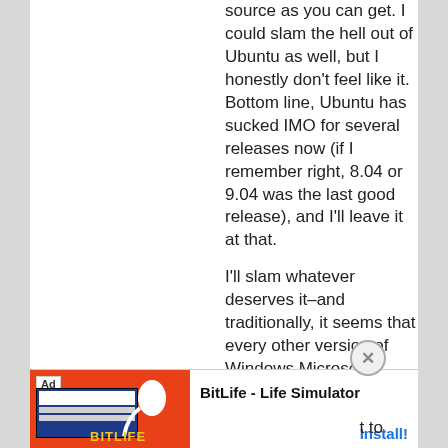source as you can get. I could slam the hell out of Ubuntu as well, but I honestly don't feel like it. Bottom line, Ubuntu has sucked IMO for several releases now (if I remember right, 8.04 or 9.04 was the last good release), and I'll leave it at that.
I'll slam whatever deserves it–and traditionally, it seems that every other version of Windows Microsoft releases sucks. Only 8 is special in that it sucks for
[Figure (screenshot): Ad banner for BitLife - Life Simulator app with red background, fake app screenshot, sperm logo, BitLife logo, and Install button]